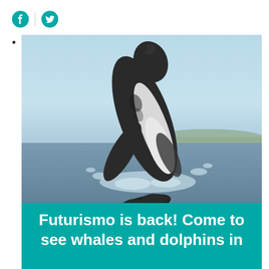Facebook | Twitter social share icons
•
[Figure (photo): A humpback whale breaching out of the ocean, with blue sky and a distant coastline in the background. Water splashes around the whale as it leaps dramatically.]
Futurismo is back! Come to see whales and dolphins in